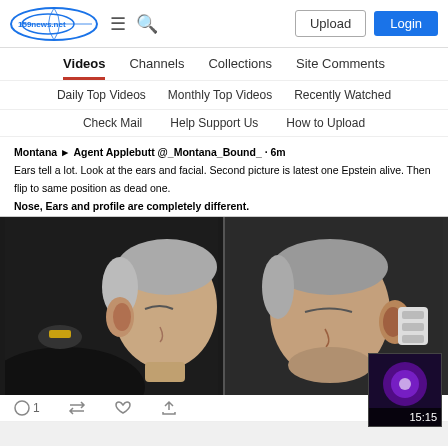159news.net — Upload | Login
Videos
Channels
Collections
Site Comments
Daily Top Videos
Monthly Top Videos
Recently Watched
Check Mail
Help Support Us
How to Upload
Montana Agent Applebutt @_Montana_Bound_ · 6m
Ears tell a lot. Look at the ears and facial. Second picture is latest one Epstein alive. Then flip to same position as dead one.
Nose, Ears and profile are completely different.
[Figure (screenshot): Side-by-side comparison of two photos of a man's head and ears, one alive and one dead, used in a tweet about Epstein.]
1
[Figure (screenshot): Small video thumbnail with purple/glowing background and timestamp 15:15]
AND... Epstein was Switched, Not "Hung"
by NOLAbutterfly